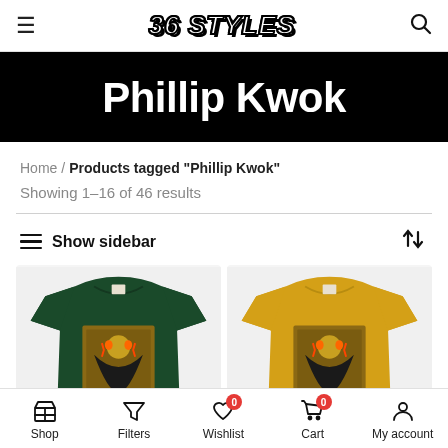36 STYLES
Phillip Kwok
Home / Products tagged "Phillip Kwok"
Showing 1–16 of 46 results
Show sidebar
[Figure (photo): Dark green t-shirt with graphic print on front]
[Figure (photo): Yellow/mustard t-shirt with graphic print on front]
Shop  Filters  Wishlist  Cart  My account